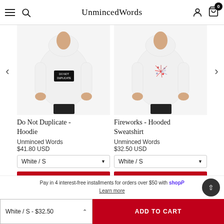UnmincedWords — navigation header with menu, search, account, and cart icons
[Figure (photo): White hoodie sweatshirt with 'DO NOT DUPLICATE' text on chest, worn by a person]
[Figure (photo): White hooded sweatshirt with fireworks graphic on chest, worn by a person]
Do Not Duplicate - Hoodie
Fireworks - Hooded Sweatshirt
Unminced Words
$41.80 USD
Unminced Words
$32.50 USD
Pay in 4 interest-free installments for orders over $50 with shopPay
Learn more
White / S - $32.50
ADD TO CART